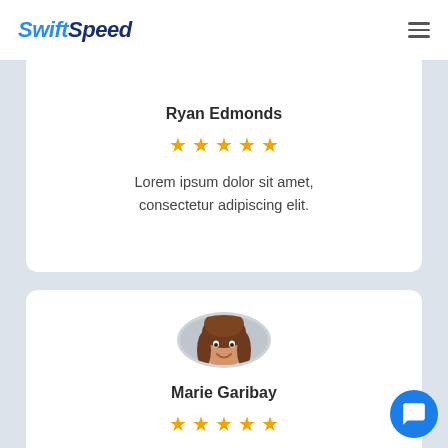SwiftSpeed
Ryan Edmonds
★★★★★
Lorem ipsum dolor sit amet, consectetur adipiscing elit.
[Figure (photo): Circular profile photo of a woman with long brown hair, wearing a dark top, smiling against a light background.]
Marie Garibay
★★★★★